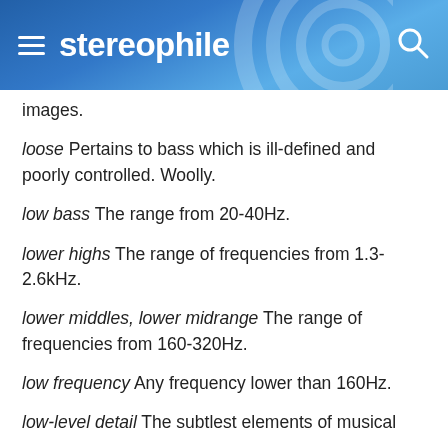stereophile
images.
loose Pertains to bass which is ill-defined and poorly controlled. Woolly.
low bass The range from 20-40Hz.
lower highs The range of frequencies from 1.3-2.6kHz.
lower middles, lower midrange The range of frequencies from 160-320Hz.
low frequency Any frequency lower than 160Hz.
low-level detail The subtlest elements of musical